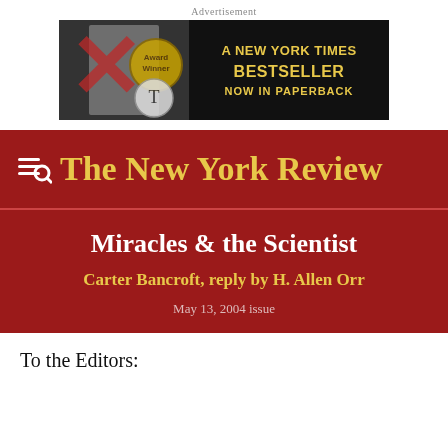Advertisement
[Figure (photo): Book advertisement banner: dark background with a face/portrait overlaid with a red X mark and award medals, text reads 'A NEW YORK TIMES BESTSELLER NOW IN PAPERBACK' in gold lettering]
The New York Review
Miracles & the Scientist
Carter Bancroft, reply by H. Allen Orr
May 13, 2004 issue
To the Editors: